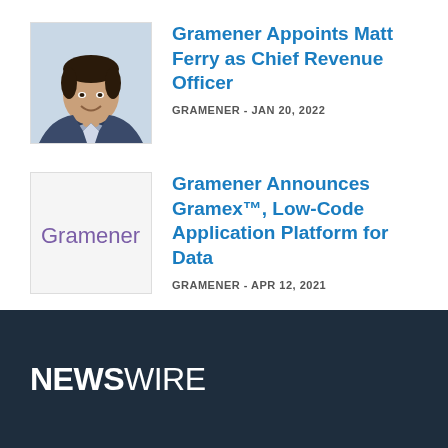[Figure (photo): Headshot of Matt Ferry, a man in a suit, smiling]
Gramener Appoints Matt Ferry as Chief Revenue Officer
GRAMENER - JAN 20, 2022
[Figure (logo): Gramener company logo in purple text on white background]
Gramener Announces Gramex™, Low-Code Application Platform for Data
GRAMENER - APR 12, 2021
NEWSWIRE